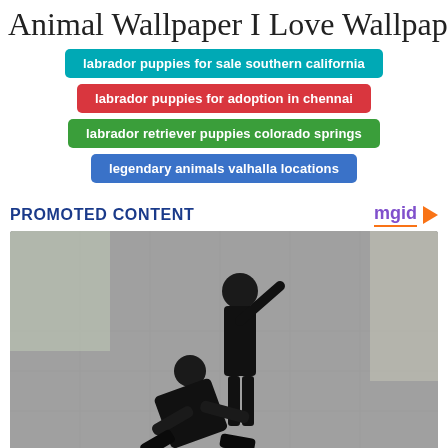Animal Wallpaper I Love Wallpaper
labrador puppies for sale southern california
labrador puppies for adoption in chennai
labrador retriever puppies colorado springs
legendary animals valhalla locations
PROMOTED CONTENT
[Figure (photo): Two people fighting in a Matrix movie scene on a concrete floor]
Matrix Cast: The After Movie Lives Of The Film's Protagonists